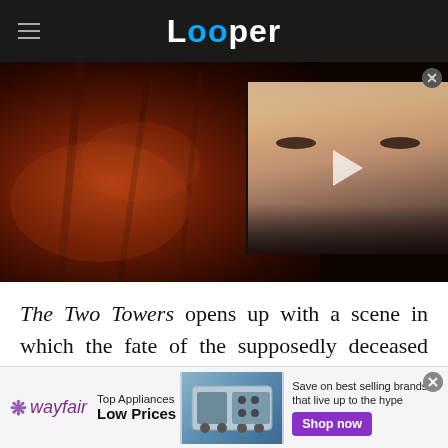Looper
[Figure (screenshot): Hero image: dark orange fiery cave background on left, with a video thumbnail on right showing a pale young person's face with a play button overlay. Close button in top-right corner.]
The Two Towers opens up with a scene in which the fate of the supposedly deceased Gandalf is shown. Last we'd seen the wizard, he and the Balrog had tumbled into the abyss spanned by the Bridge of
[Figure (infographic): Wayfair advertisement banner: wayfair logo, 'Top Appliances Low Prices', image of appliances, 'Save on best selling brands that live up to the hype', Shop now button.]